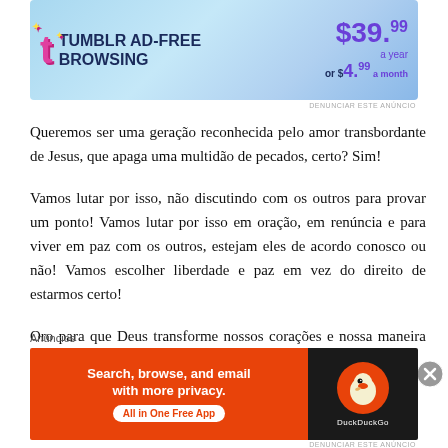[Figure (screenshot): Tumblr Ad-Free Browsing banner advertisement: $39.99 a year or $4.99 a month]
Queremos ser uma geração reconhecida pelo amor transbordante de Jesus, que apaga uma multidão de pecados, certo? Sim!
Vamos lutar por isso, não discutindo com os outros para provar um ponto! Vamos lutar por isso em oração, em renúncia e para viver em paz com os outros, estejam eles de acordo conosco ou não! Vamos escolher liberdade e paz em vez do direito de estarmos certo!
Oro para que Deus transforme nossos corações e nossa maneira de olhar para os outros, para que possamos amar
Anúncios
[Figure (screenshot): DuckDuckGo advertisement: Search, browse, and email with more privacy. All in One Free App]